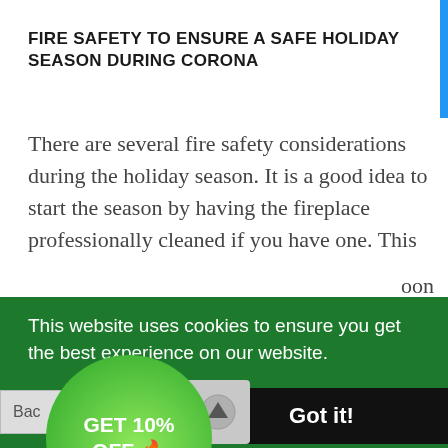FIRE SAFETY TO ENSURE A SAFE HOLIDAY SEASON DURING CORONA
There are several fire safety considerations during the holiday season. It is a good idea to start the season by having the fireplace professionally cleaned if you have one. This [soon] [location] [n] tree. It is also imperative to ensure that all real
This website uses cookies to ensure you get the best experience on our website.
Got it!
GET 10% OFF 🔥